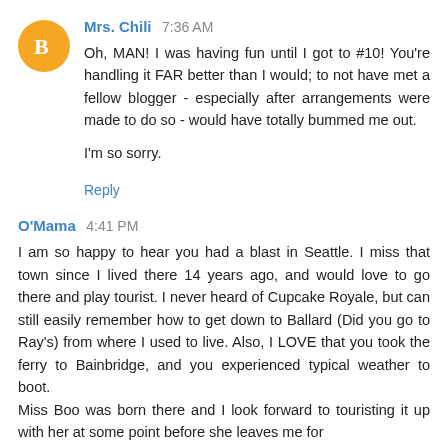Mrs. Chili 7:36 AM
Oh, MAN! I was having fun until I got to #10! You're handling it FAR better than I would; to not have met a fellow blogger - especially after arrangements were made to do so - would have totally bummed me out.

I'm so sorry.
Reply
O'Mama 4:41 PM
I am so happy to hear you had a blast in Seattle. I miss that town since I lived there 14 years ago, and would love to go there and play tourist. I never heard of Cupcake Royale, but can still easily remember how to get down to Ballard (Did you go to Ray's) from where I used to live. Also, I LOVE that you took the ferry to Bainbridge, and you experienced typical weather to boot.
Miss Boo was born there and I look forward to touristing it up with her at some point before she leaves me for